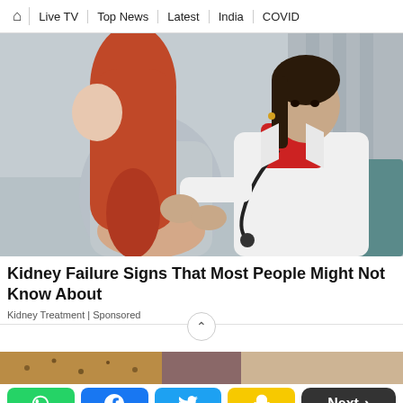🏠 | Live TV | Top News | Latest | India | COVID
[Figure (photo): A female doctor in a white coat examining a young woman with red hair by pressing on her back/kidney area in a clinical setting.]
Kidney Failure Signs That Most People Might Not Know About
Kidney Treatment | Sponsored